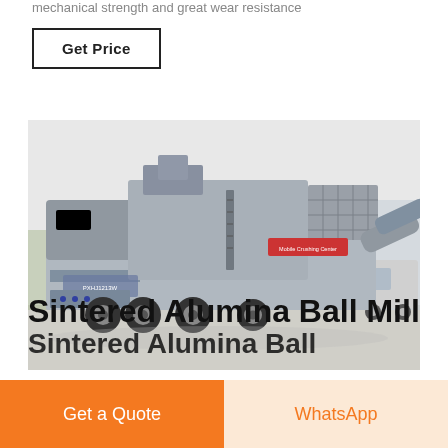mechanical strength and great wear resistance
Get Price
[Figure (photo): Mobile crushing plant / ball mill machinery on a flatbed truck, photographed outdoors. Large industrial equipment with conveyor belt, control panels, and wheels visible.]
Sintered Alumina Ball Mill
Sintered Alumina Ball
Get a Quote
WhatsApp